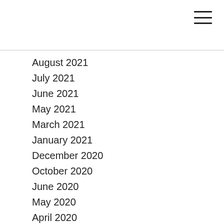August 2021
July 2021
June 2021
May 2021
March 2021
January 2021
December 2020
October 2020
June 2020
May 2020
April 2020
March 2020
February 2020
January 2020
December 2019
November 2019
October 2019